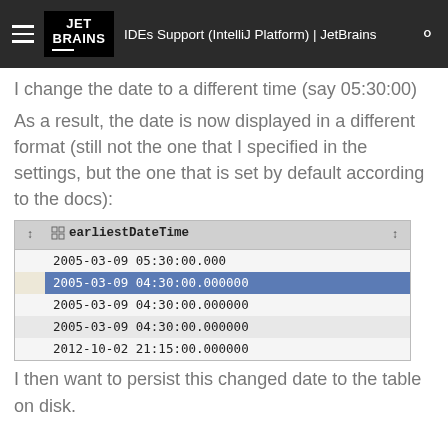IDEs Support (IntelliJ Platform) | JetBrains
I change the date to a different time (say 05:30:00)
As a result, the date is now displayed in a different format (still not the one that I specified in the settings, but the one that is set by default according to the docs):
[Figure (screenshot): Database query result table showing earliestDateTime column with values: 2005-03-09 05:30:00.000, 2005-03-09 04:30:00.000000 (selected/highlighted), 2005-03-09 04:30:00.000000, 2005-03-09 04:30:00.000000, 2012-10-02 21:15:00.000000]
I then want to persist this changed date to the table on disk.